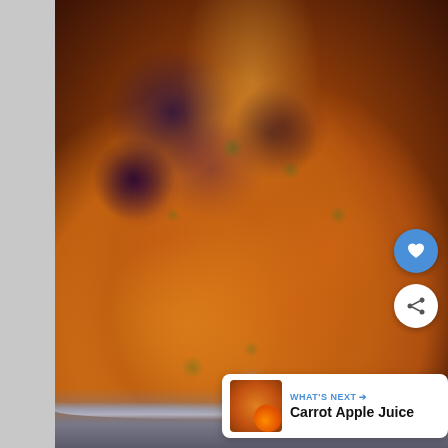[Figure (photo): Close-up photograph of roasted rainbow carrots (orange, purple, and yellow) seasoned with spices and herbs, served in a round baking dish. The carrots appear caramelized and are garnished with fresh thyme or oregano.]
WHAT'S NEXT → Carrot Apple Juice